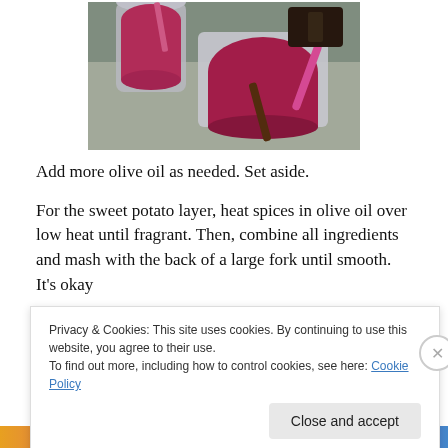[Figure (photo): Overhead view of bowls containing pink/red mixture being stirred, on a kitchen counter. A pink-handled utensil is visible in a container.]
Add more olive oil as needed. Set aside.
For the sweet potato layer, heat spices in olive oil over low heat until fragrant. Then, combine all ingredients and mash with the back of a large fork until smooth. It's okay
Privacy & Cookies: This site uses cookies. By continuing to use this website, you agree to their use.
To find out more, including how to control cookies, see here: Cookie Policy
Close and accept